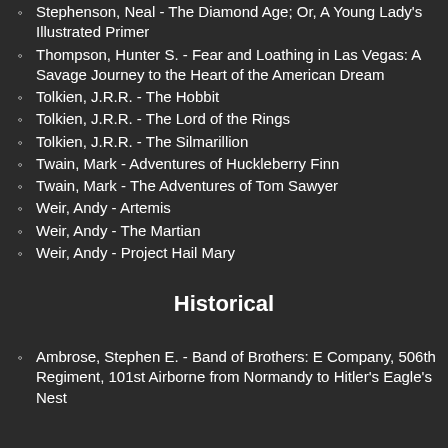Stephenson, Neal - The Diamond Age; Or, A Young Lady's Illustrated Primer
Thompson, Hunter S. - Fear and Loathing in Las Vegas: A Savage Journey to the Heart of the American Dream
Tolkien, J.R.R. - The Hobbit
Tolkien, J.R.R. - The Lord of the Rings
Tolkien, J.R.R. - The Silmarillion
Twain, Mark - Adventures of Huckleberry Finn
Twain, Mark - The Adventures of Tom Sawyer
Weir, Andy - Artemis
Weir, Andy - The Martian
Weir, Andy - Project Hail Mary
Historical
Ambrose, Stephen E. - Band of Brothers: E Company, 506th Regiment, 101st Airborne from Normandy to Hitler's Eagle's Nest